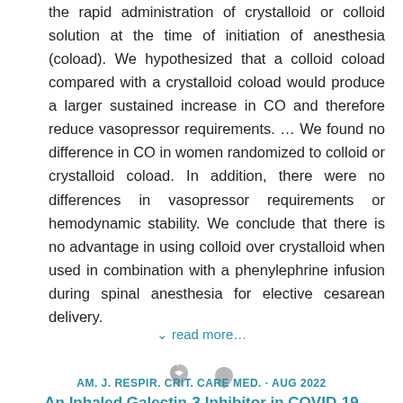the rapid administration of crystalloid or colloid solution at the time of initiation of anesthesia (coload). We hypothesized that a colloid coload compared with a crystalloid coload would produce a larger sustained increase in CO and therefore reduce vasopressor requirements. … We found no difference in CO in women randomized to colloid or crystalloid coload. In addition, there were no differences in vasopressor requirements or hemodynamic stability. We conclude that there is no advantage in using colloid over crystalloid when used in combination with a phenylephrine infusion during spinal anesthesia for elective cesarean delivery.
∨ read more…
[Figure (illustration): Two gray broken heart emoji icons side by side]
AM. J. RESPIR. CRIT. CARE MED. · AUG 2022
An Inhaled Galectin-3 Inhibitor in COVID-19